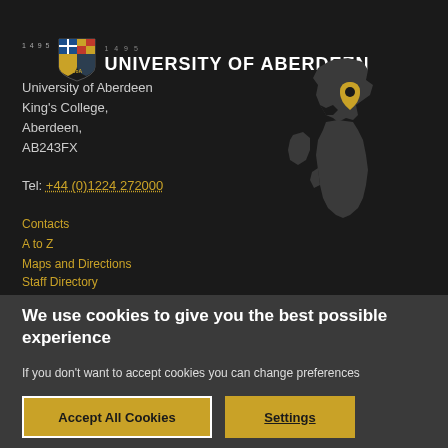[Figure (logo): University of Aberdeen shield crest logo with year 1495 and university name text]
University of Aberdeen
King's College,
Aberdeen,
AB243FX
Tel: +44 (0)1224 272000
Contacts
A to Z
Maps and Directions
Staff Directory
[Figure (map): Silhouette map of the United Kingdom in dark grey with a gold location pin marker in the Aberdeen/Scotland area]
We use cookies to give you the best possible experience
If you don't want to accept cookies you can change preferences
Accept All Cookies
Settings